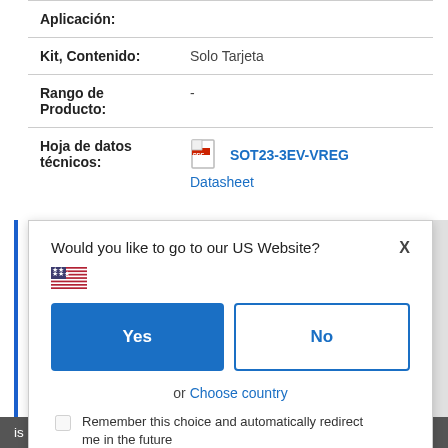| Field | Value |
| --- | --- |
| Aplicación: |  |
| Kit, Contenido: | Solo Tarjeta |
| Rango de Producto: | - |
| Hoja de datos técnicos: | SOT23-3EV-VREG Datasheet |
Would you like to go to our US Website?
Yes
No
or Choose country
Remember this choice and automatically redirect me in the future
is based upon a modular concept which will allow the user to